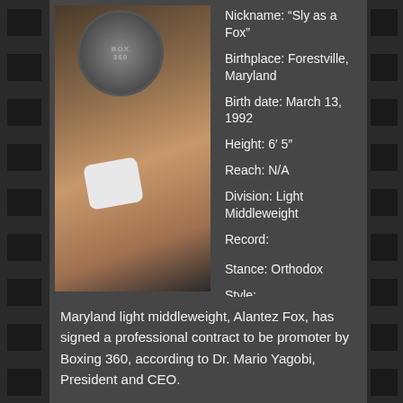[Figure (photo): Boxer in fighting pose with white hand wraps, Boxing 360 logo in background]
Nickname: “Sly as a Fox”
Birthplace: Forestville, Maryland
Birth date: March 13, 1992
Height: 6′ 5″
Reach: N/A
Division: Light Middleweight
Record:
Stance: Orthodox
Style:
Maryland light middleweight, Alantez Fox, has signed a professional contract to be promoter by Boxing 360, according to Dr. Mario Yagobi, President and CEO.